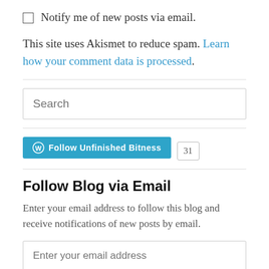Notify me of new posts via email.
This site uses Akismet to reduce spam. Learn how your comment data is processed.
[Figure (other): Search input field with placeholder text 'Search']
[Figure (other): WordPress Follow button 'Follow Unfinished Bitness' with follower count badge showing 31]
Follow Blog via Email
Enter your email address to follow this blog and receive notifications of new posts by email.
[Figure (other): Email input field with placeholder text 'Enter your email address']